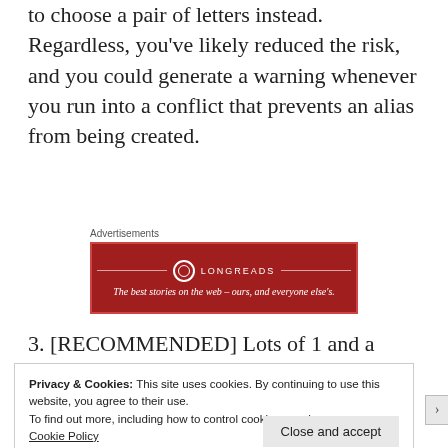to choose a pair of letters instead. Regardless, you've likely reduced the risk, and you could generate a warning whenever you run into a conflict that prevents an alias from being created.
[Figure (other): Longreads advertisement banner with red background. Text reads: 'LONGREADS — The best stories on the web – ours, and everyone else's.']
3. [RECOMMENDED] Lots of 1 and a little bit
Privacy & Cookies: This site uses cookies. By continuing to use this website, you agree to their use.
To find out more, including how to control cookies, see here: Cookie Policy
Close and accept